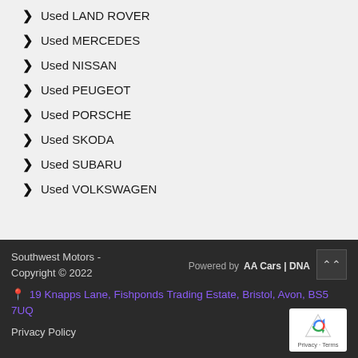Used LAND ROVER
Used MERCEDES
Used NISSAN
Used PEUGEOT
Used PORSCHE
Used SKODA
Used SUBARU
Used VOLKSWAGEN
Southwest Motors - Copyright © 2022
19 Knapps Lane, Fishponds Trading Estate, Bristol, Avon, BS5 7UQ
Powered by AA Cars | DNA
Privacy Policy